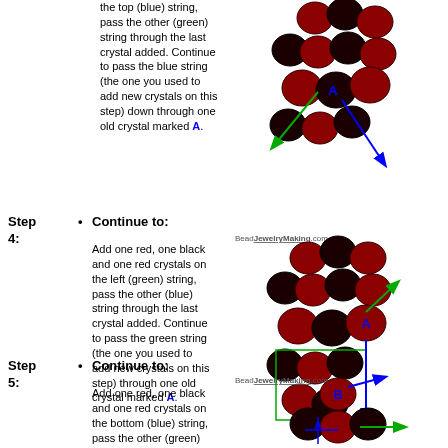the top (blue) string, pass the other (green) string through the last crystal added. Continue to pass the blue string (the one you used to add new crystals on this step) down through one old crystal marked A.
[Figure (illustration): Red and black crystal beads arranged in a cluster with blue and green arrows showing threading directions and A label]
Step 4: Continue to: Add one red, one black and one red crystals on the left (green) string, pass the other (blue) string through the last crystal added. Continue to pass the green string (the one you used to add new crystals on this step) through one old crystal marked A.
[Figure (illustration): Red and black crystal beads arranged in a larger cluster with green and blue arrows and A label, BeadJewelryMaking.com watermark]
Step 5: Continue to: Add one red, one black and one red crystals on the bottom (blue) string, pass the other (green) string through the last crystal added. Continue to pass the blue string (the one
[Figure (illustration): Red and black crystal beads with B and A labels, blue and green arrows, BeadJewelryMaking.com watermark]